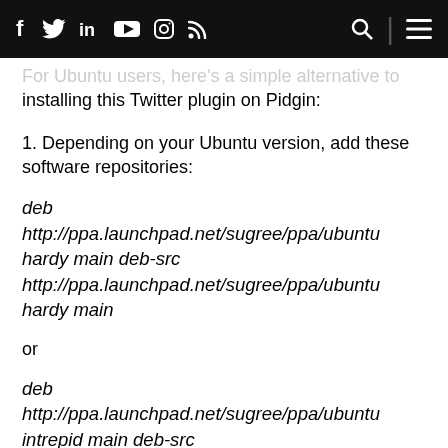Social media icons: f (Facebook), Twitter bird, in (LinkedIn), YouTube, Instagram, RSS feed; Search icon; Menu icon
...installing this Twitter plugin on Pidgin:
1. Depending on your Ubuntu version, add these software repositories:
deb http://ppa.launchpad.net/sugree/ppa/ubuntu hardy main deb-src http://ppa.launchpad.net/sugree/ppa/ubuntu hardy main
or
deb http://ppa.launchpad.net/sugree/ppa/ubuntu intrepid main deb-src http://ppa.launchpad.net/sugree/ppa/ubuntu